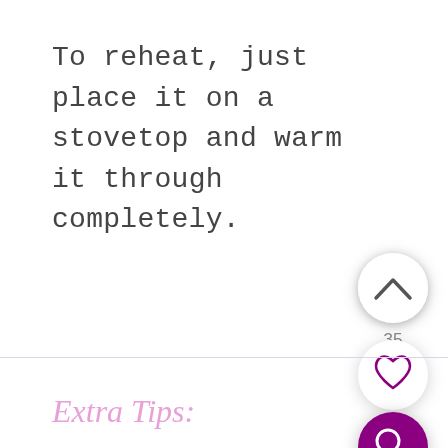To reheat, just place it on a stovetop and warm it through completely.
[Figure (infographic): Three circular UI buttons on the right side: an upward chevron button (white circle with shadow), a count label showing '35', a heart/favorite button (white circle with purple heart outline), and a purple search button (purple circle with white magnifying glass icon).]
Extra Tips: